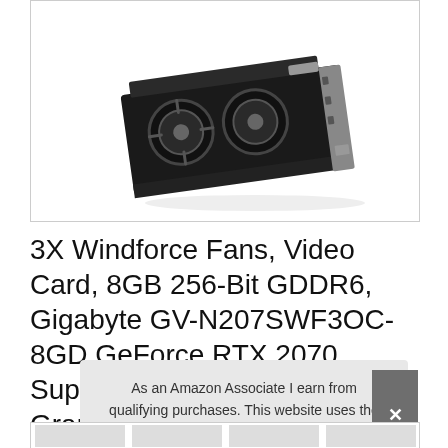[Figure (photo): Product image of a Gigabyte GeForce RTX 2070 Super Windforce OC 8G graphics card, shown at an angle on a white background inside a bordered box.]
3X Windforce Fans, Video Card, 8GB 256-Bit GDDR6, Gigabyte GV-N207SWF3OC-8GD GeForce RTX 2070 Super Windforce OC 8G Graphics Card
As an Amazon Associate I earn from qualifying purchases. This website uses the only necessary cookies to ensure you get the best experience on our website. More information
[Figure (photo): Row of thumbnail product images of graphics cards at the bottom of the page.]